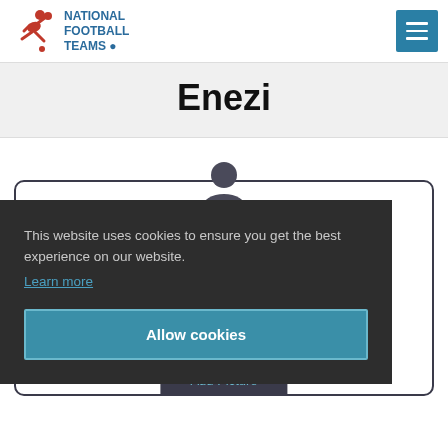NATIONAL FOOTBALL TEAMS
Enezi
This website uses cookies to ensure you get the best experience on our website. Learn more
Allow cookies
Add Picture